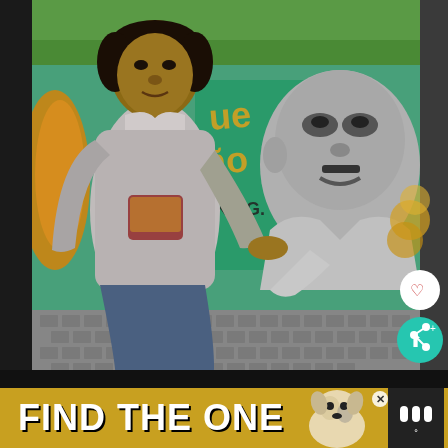[Figure (photo): A young man in a grey long-sleeve t-shirt and jeans stands in front of a colorful street mural. The mural features a large greyscale portrait of Martin Luther King Jr. with colorful graffiti lettering reading 'King' beside him. The man is pointing towards the camera. There is a small dog visible in the lower right area. Two UI buttons are visible on the right side: a white heart/like button and a teal share button.]
FIND THE ONE